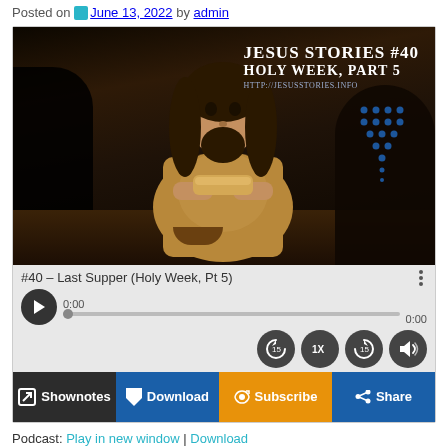Posted on June 13, 2022 by admin
[Figure (photo): Screenshot of a podcast player showing a video thumbnail of a man holding bread at a table (depicting the Last Supper scene), with overlay text 'Jesus Stories #40 Holy Week, Part 5' and the URL http://jesusstories.info. Below the thumbnail is an audio player with title '#40 – Last Supper (Holy Week, Pt 5)', play button, progress bar showing 0:00, and playback controls (rewind 15, speed 1x, forward 15, volume). Action buttons: Shownotes, Download, Subscribe, Share.]
Podcast: Play in new window | Download